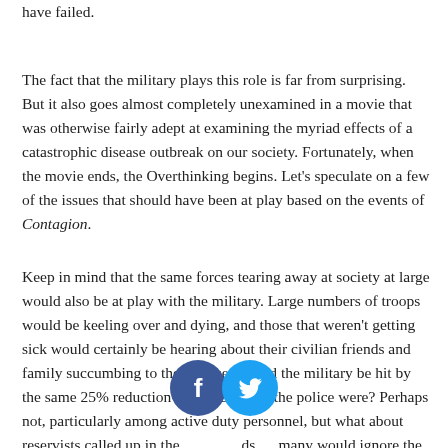have failed.
The fact that the military plays this role is far from surprising. But it also goes almost completely unexamined in a movie that was otherwise fairly adept at examining the myriad effects of a catastrophic disease outbreak on our society. Fortunately, when the movie ends, the Overthinking begins. Let's speculate on a few of the issues that should have been at play based on the events of Contagion.
Keep in mind that the same forces tearing away at society at large would also be at play with the military. Large numbers of troops would be keeling over and dying, and those that weren't getting sick would certainly be hearing about their civilian friends and family succumbing to the disease. Would the military be hit by the same 25% reduction in capacity that the police were? Perhaps not, particularly among active duty personnel, but what about reservists called up in the [Facebook icon] [Twitter icon] ads many would ignore the call and choose to stay with their loved ones? Probably more than